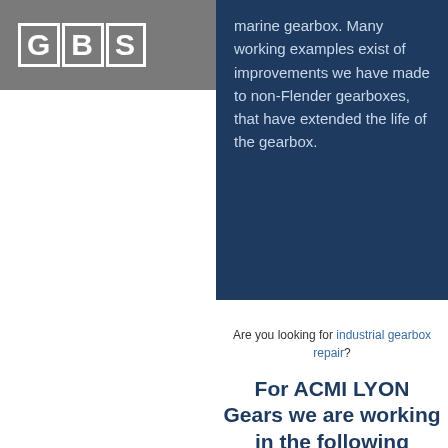GBS | Menu
marine gearbox. Many working examples exist of improvements we have made to non-Flender gearboxes, that have extended the life of the gearbox.
Are you looking for industrial gearbox repair?
For ACMI LYON Gears we are working in the following markets
[Figure (photo): Industrial machinery or gearbox industrial image]